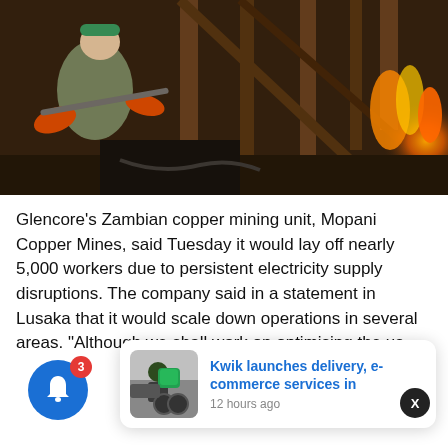[Figure (photo): A worker in a hard hat and orange gloves working in what appears to be a copper mine or smelting facility, with fire/heat visible in the background among wooden structures.]
Glencore's Zambian copper mining unit, Mopani Copper Mines, said Tuesday it would lay off nearly 5,000 workers due to persistent electricity supply disruptions. The company said in a statement in Lusaka that it would scale down operations in several areas. "Although we shall work on optimising the us
[Figure (photo): Notification card showing a delivery person on a motorcycle with a green backpack. Headline: 'Kwik launches delivery, e-commerce services in', timestamp: '12 hours ago']